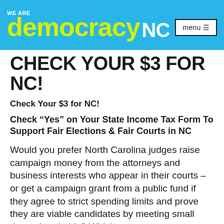WE ARE democracy NC | menu
CHECK YOUR $3 FOR NC!
Check Your $3 for NC!
Check “Yes” on Your State Income Tax Form To Support Fair Elections & Fair Courts in NC
Would you prefer North Carolina judges raise campaign money from the attorneys and business interests who appear in their courts – or get a campaign grant from a public fund if they agree to strict spending limits and prove they are viable candidates by meeting small donor thresholds? Which system promotes fairness in our courts and